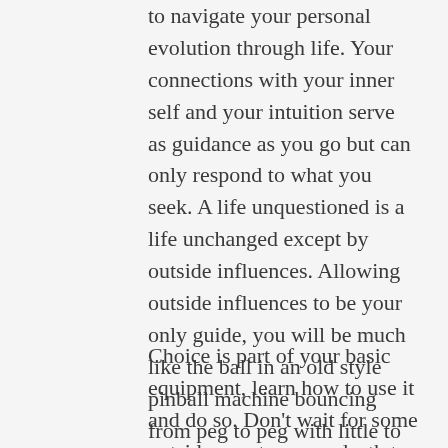to navigate your personal evolution through life. Your connections with your inner self and your intuition serve as guidance as you go but can only respond to what you seek. A life unquestioned is a life unchanged except by outside influences. Allowing outside influences to be your only guide, you will be much like the ball in an old style pinball machine bouncing from peg to peg with little to no choice.
Choice is part of your basic equipment, learn how to use it and do so. Don't wait for some outside event or near death to wake you up,